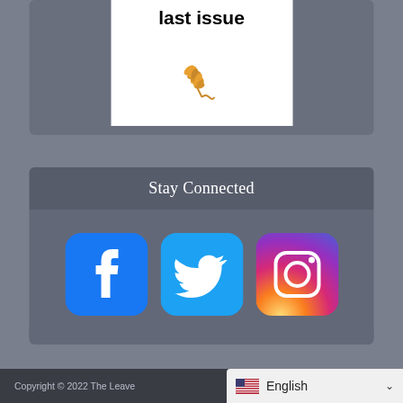last issue
[Figure (illustration): A golden wheat/grain stalk icon in orange-gold color]
Stay Connected
[Figure (logo): Facebook logo icon - blue rounded square with white F]
[Figure (logo): Twitter logo icon - blue rounded square with white bird]
[Figure (logo): Instagram logo icon - gradient purple/pink/orange rounded square with white camera outline]
Copyright © 2022 The Leave... English